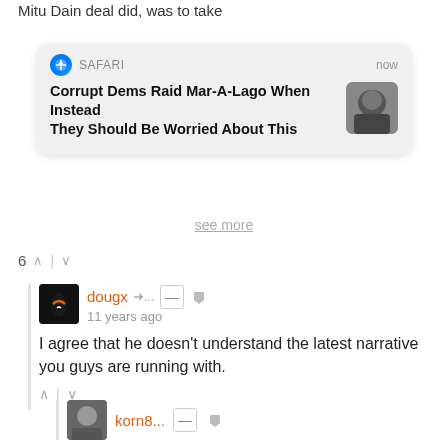Mitu Dain deal did, was to take
[Figure (screenshot): iOS Safari push notification card showing headline: 'Corrupt Dems Raid Mar-A-Lago When Instead They Should Be Worried About This' with a thumbnail image of a man in a suit, timestamped 'now']
See more
6 ↑ | ↓
dougx →... 11 years ago
I agree that he doesn't understand the latest narrative you guys are running with.
↑ | ↓
korn8...